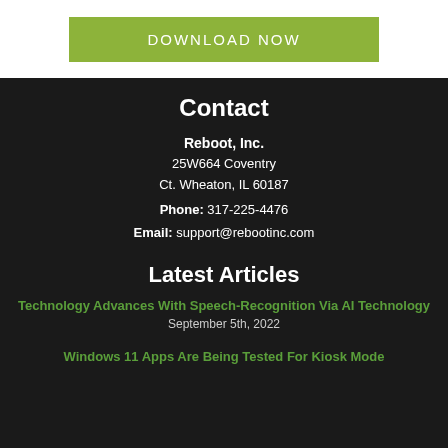[Figure (other): Green DOWNLOAD NOW button]
Contact
Reboot, Inc.
25W664 Coventry
Ct. Wheaton, IL 60187
Phone: 317-225-4476
Email: support@rebootinc.com
Latest Articles
Technology Advances With Speech-Recognition Via AI Technology
September 5th, 2022
Windows 11 Apps Are Being Tested For Kiosk Mode